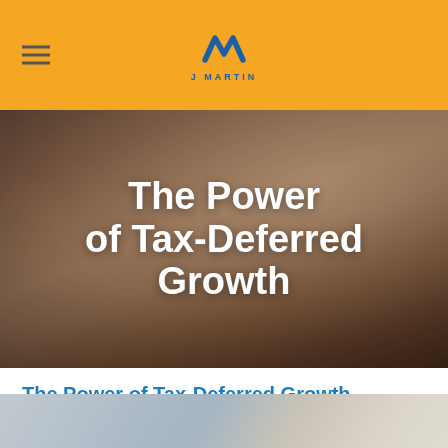J MARTIN
[Figure (photo): Hands using a calculator with a pen, hero image with overlaid title text 'The Power of Tax-Deferred Growth']
The Power of Tax-Deferred Growth
Why are 401(k) plans, annuities, and IRAs so popular
[Figure (photo): Bottom strip showing a tablet or financial document image]